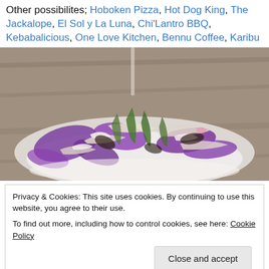Other possibilites; Hoboken Pizza, Hot Dog King, The Jackalope, El Sol y La Luna, Chi'Lantro BBQ, Kebabalicious, One Love Kitchen, Bennu Coffee, Karibu
[Figure (photo): A plate of food with purple cabbage, green broccoli or asparagus, and onion salad on a white plate, photographed on a wooden surface.]
Privacy & Cookies: This site uses cookies. By continuing to use this website, you agree to their use.
To find out more, including how to control cookies, see here: Cookie Policy